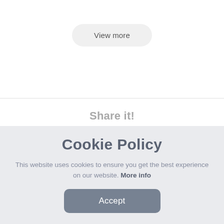View more
Share it!
Cookie Policy
This website uses cookies to ensure you get the best experience on our website. More info
Accept